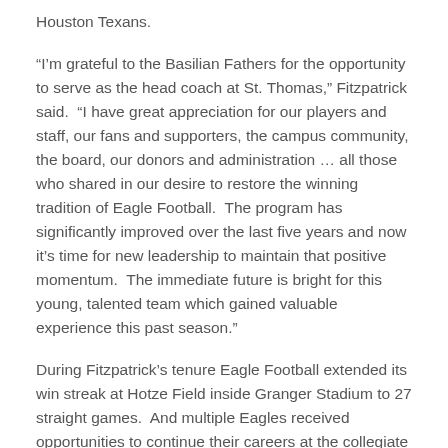Houston Texans.
“I’m grateful to the Basilian Fathers for the opportunity to serve as the head coach at St. Thomas,” Fitzpatrick said.  “I have great appreciation for our players and staff, our fans and supporters, the campus community, the board, our donors and administration … all those who shared in our desire to restore the winning tradition of Eagle Football.  The program has significantly improved over the last five years and now it’s time for new leadership to maintain that positive momentum.  The immediate future is bright for this young, talented team which gained valuable experience this past season.”
During Fitzpatrick’s tenure Eagle Football extended its win streak at Hotze Field inside Granger Stadium to 27 straight games.  And multiple Eagles received opportunities to continue their careers at the collegiate level, as well as repeated Touchdown Club, and TAPPS all-state and academic all-state distinction, including Parker